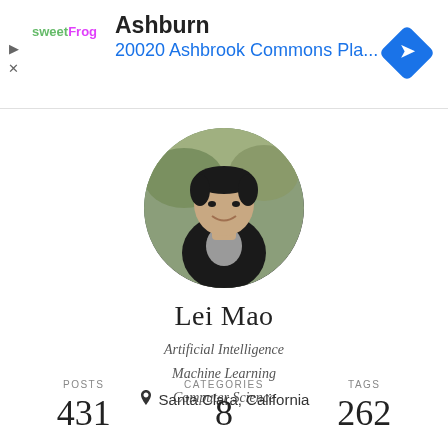[Figure (screenshot): Ad banner showing sweetFrog logo, Ashburn location with address 20020 Ashbrook Commons Pla... and a blue navigation diamond icon]
[Figure (photo): Circular profile photo of Lei Mao, a young man in a dark jacket, outdoors with trees in background]
Lei Mao
Artificial Intelligence
Machine Learning
Computer Science
Santa Clara, California
| POSTS | CATEGORIES | TAGS |
| --- | --- | --- |
| 431 | 8 | 262 |